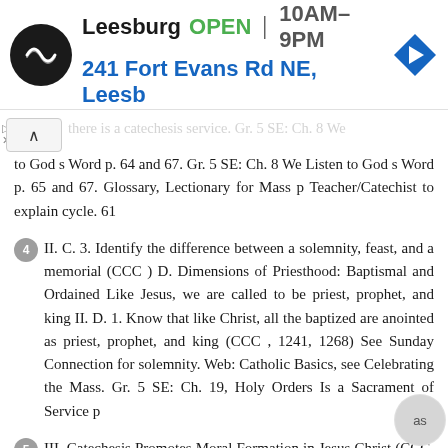[Figure (screenshot): Advertisement banner for Leesburg store showing logo, OPEN status, hours 10AM-9PM, address 241 Fort Evans Rd NE, Leesb, and navigation arrow icon]
to God s Word p. 64 and 67. Gr. 5 SE: Ch. 8 We Listen to God s Word p. 65 and 67. Glossary, Lectionary for Mass p Teacher/Catechist to explain cycle. 61
4  II. C. 3. Identify the difference between a solemnity, feast, and a memorial (CCC ) D. Dimensions of Priesthood: Baptismal and Ordained Like Jesus, we are called to be priest, prophet, and king II. D. 1. Know that like Christ, all the baptized are anointed as priest, prophet, and king (CCC , 1241, 1268) See Sunday Connection for solemnity. Web: Catholic Basics, see Celebrating the Mass. Gr. 5 SE: Ch. 19, Holy Orders Is a Sacrament of Service p
5  III. Catechesis Promotes Moral Formation in Jesus Christ (CCC, ; GDC, 84-85, 87) A. Commandment to Love The new commandment of Jesus, to love one another as he, God, has loved us is one of the defining characteristics